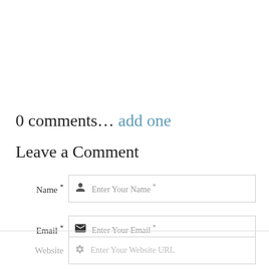0 comments... add one
Leave a Comment
Name *   Enter Your Name *
Email *   Enter Your Email *
Website   Enter Your Website URL